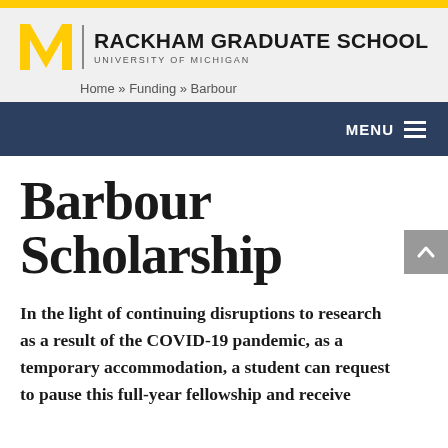[Figure (logo): Rackham Graduate School, University of Michigan logo with blue M block M and text]
Home » Funding » Barbour
Barbour Scholarship
In the light of continuing disruptions to research as a result of the COVID-19 pandemic, as a temporary accommodation, a student can request to pause this full-year fellowship and receive